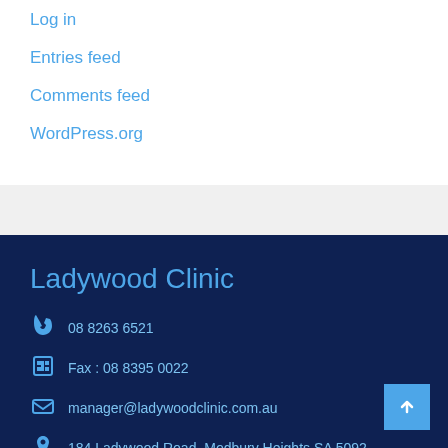Log in
Entries feed
Comments feed
WordPress.org
Ladywood Clinic
08 8263 6521
Fax : 08 8395 0022
manager@ladywoodclinic.com.au
184 Ladywood Road, Modbury Heights SA 5092